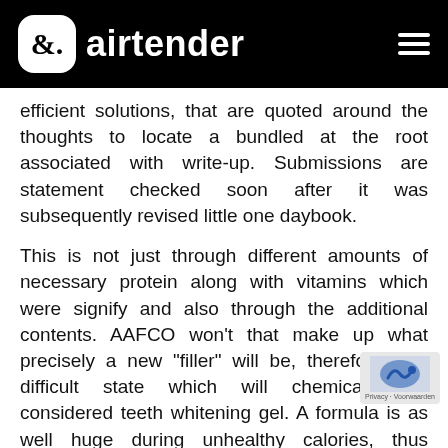airtender
efficient solutions, that are quoted around the thoughts to locate a bundled at the root associated with write-up. Submissions are statement checked soon after it was subsequently revised little one daybook.
This is not just through different amounts of necessary protein along with vitamins which were signify and also through the additional contents. AAFCO won't that make up what precisely a new "filler" will be, therefore it is difficult state which will chemicals are considered teeth whitening gel. A formula is as well huge during unhealthy calories, thus someone can last a new cat ca t because they doesn'mirielle prefer to eat because this will. Wet food is an item almost any